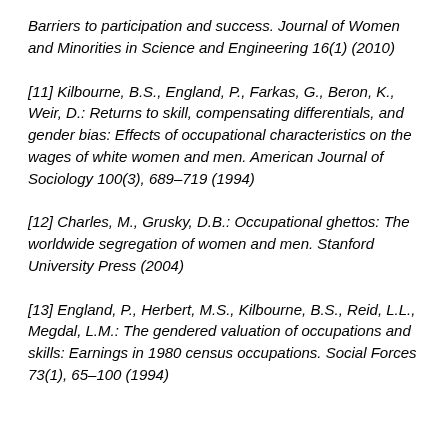Barriers to participation and success. Journal of Women and Minorities in Science and Engineering 16(1) (2010)
[11] Kilbourne, B.S., England, P., Farkas, G., Beron, K., Weir, D.: Returns to skill, compensating differentials, and gender bias: Effects of occupational characteristics on the wages of white women and men. American Journal of Sociology 100(3), 689–719 (1994)
[12] Charles, M., Grusky, D.B.: Occupational ghettos: The worldwide segregation of women and men. Stanford University Press (2004)
[13] England, P., Herbert, M.S., Kilbourne, B.S., Reid, L.L., Megdal, L.M.: The gendered valuation of occupations and skills: Earnings in 1980 census occupations. Social Forces 73(1), 65–100 (1994)